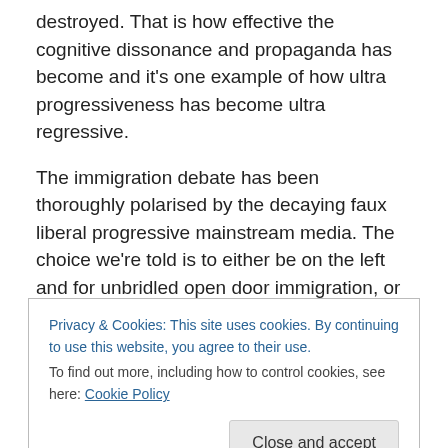destroyed. That is how effective the cognitive dissonance and propaganda has become and it's one example of how ultra progressiveness has become ultra regressive.
The immigration debate has been thoroughly polarised by the decaying faux liberal progressive mainstream media. The choice we're told is to either be on the left and for unbridled open door immigration, or on the right and an 'anti migrant', xenophobic, white privileged swivel eyed isolationist supremacist evil patriarchal racist. The mainstream media is no friend of rational unpolarised
Privacy & Cookies: This site uses cookies. By continuing to use this website, you agree to their use.
To find out more, including how to control cookies, see here: Cookie Policy
[Figure (photo): Bottom strip showing partial photo of a person, teal/muted color background]